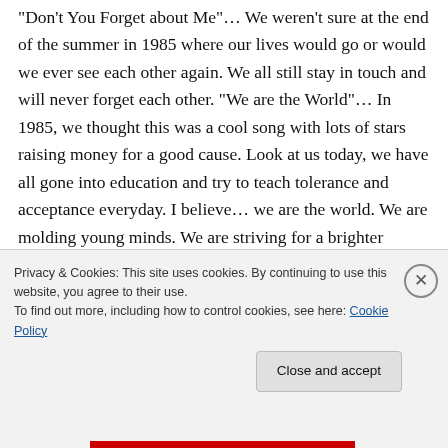“Don’t You Forget about Me”… We weren’t sure at the end of the summer in 1985 where our lives would go or would we ever see each other again. We all still stay in touch and will never forget each other. “We are the World”… In 1985, we thought this was a cool song with lots of stars raising money for a good cause. Look at us today, we have all gone into education and try to teach tolerance and acceptance everyday. I believe… we are the world. We are molding young minds. We are striving for a brighter
Privacy & Cookies: This site uses cookies. By continuing to use this website, you agree to their use.
To find out more, including how to control cookies, see here: Cookie Policy
Close and accept